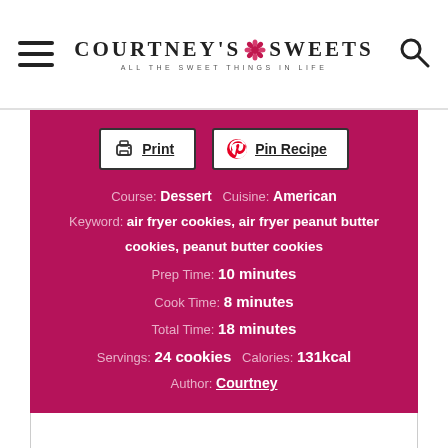COURTNEY'S SWEETS — ALL THE SWEET THINGS IN LIFE
Course: Dessert   Cuisine: American
Keyword: air fryer cookies, air fryer peanut butter cookies, peanut butter cookies
Prep Time: 10 minutes
Cook Time: 8 minutes
Total Time: 18 minutes
Servings: 24 cookies   Calories: 131kcal
Author: Courtney